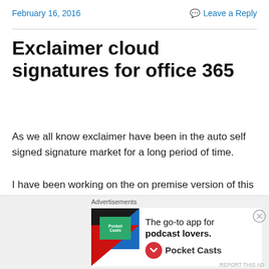February 16, 2016    Leave a Reply
Exclaimer cloud signatures for office 365
As we all know exclaimer have been in the auto self signed signature market for a long period of time.
I have been working on the on premise version of this product for a quite period of time.
When we talk about the on premise solution based on my experience i would say its definitely a WOW factor. It is
[Figure (other): Advertisement banner for Pocket Casts app: 'The go-to app for podcast lovers.' with Pocket Casts logo]